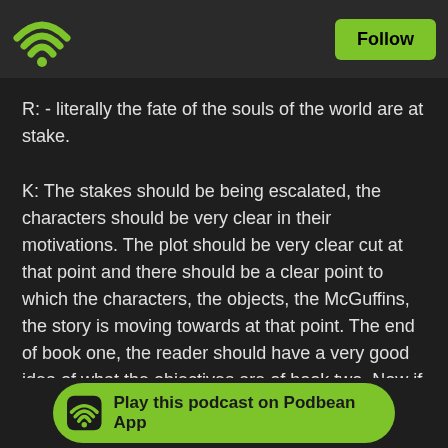[Figure (logo): Podbean app header bar with green WiFi/podcast icon on left and green Follow button on right, dark background]
R: - literally the fate of the souls of the world are at stake.
K: The stakes should be being escalated, the characters should be very clear in their motivations. The plot should be very clear cut at that point and there should be a clear point to which the characters, the objects, the McGuffins, the story is moving towards at that point. The end of book one, the reader should have a very good idea of what the objectives are of book two. Now if they work out that way or not, that's up to the reader, you know, maybe throw a twist or a loop in there or something, and the plan never goes according to plan because plans shouldn't
[Figure (logo): Green pill-shaped Play this podcast on Podbean App button with WiFi icon]